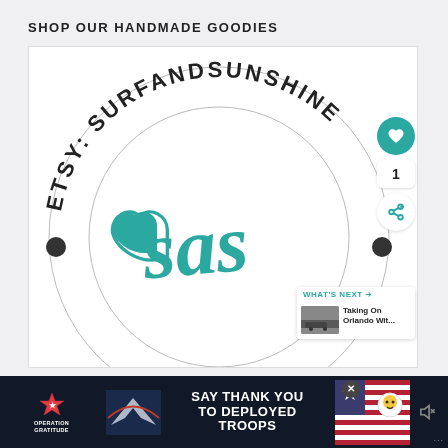SHOP OUR HANDMADE GOODIES
[Figure (logo): Circular logo for Etsy shop SurfAndSunshine (SAS) with cursive 'sas' text in teal, heart symbol, arched text reading 'ETSY: SURFANDSUNSHINE' and 'HANDMADE' around the top and bottom of the circle. Social sharing icons and 'WHAT'S NEXT' panel overlaid on right side.]
[Figure (photo): Advertisement banner: Operation Gratitude - SAY THANK YOU TO DEPLOYED TROOPS with patriotic imagery]